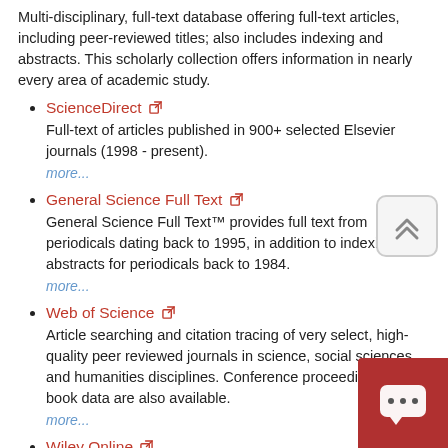Multi-disciplinary, full-text database offering full-text articles, including peer-reviewed titles; also includes indexing and abstracts. This scholarly collection offers information in nearly every area of academic study.
ScienceDirect - Full-text of articles published in 900+ selected Elsevier journals (1998 - present). more...
General Science Full Text - General Science Full Text™ provides full text from periodicals dating back to 1995, in addition to indexing and abstracts for periodicals back to 1984. more...
Web of Science - Article searching and citation tracing of very select, high-quality peer reviewed journals in science, social sciences, and humanities disciplines. Conference proceedings and book data are also available. more...
Wiley Online - Extensive multidisciplinary collections with access to articles from journals, books, and multi-volume reference works, laboratory